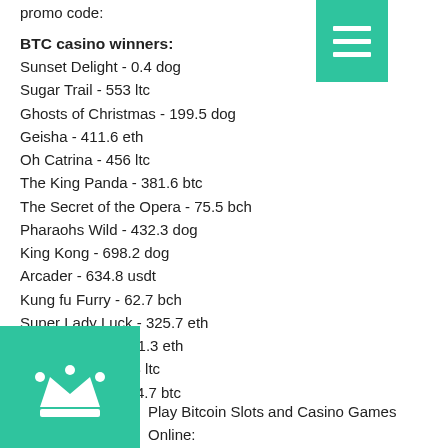promo code:
[Figure (other): Green menu/hamburger icon button with three white horizontal lines]
BTC casino winners:
Sunset Delight - 0.4 dog
Sugar Trail - 553 ltc
Ghosts of Christmas - 199.5 dog
Geisha - 411.6 eth
Oh Catrina - 456 ltc
The King Panda - 381.6 btc
The Secret of the Opera - 75.5 bch
Pharaohs Wild - 432.3 dog
King Kong - 698.2 dog
Arcader - 634.8 usdt
Kung fu Furry - 62.7 bch
Super Lady Luck - 325.7 eth
Apollo Rising - 531.3 eth
Fixer Upper - 37.3 ltc
Gold Trophy 2 - 44.7 btc
[Figure (other): Green square icon with white crown symbol]
Play Bitcoin Slots and Casino Games Online: